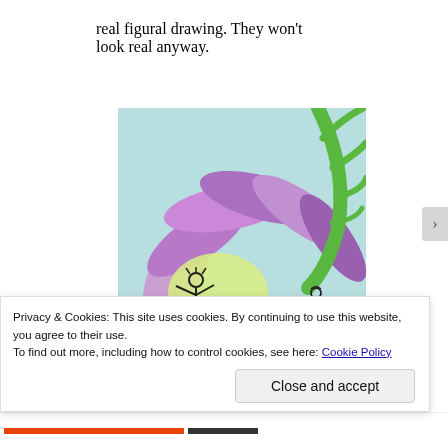real figural drawing. They won't look real anyway.
[Figure (illustration): Colorful pencil or pastel drawing showing large purple and green petals/leaves with two stick-figure-like human forms standing beneath them, rendered in a whimsical, childlike style.]
Privacy & Cookies: This site uses cookies. By continuing to use this website, you agree to their use.
To find out more, including how to control cookies, see here: Cookie Policy
Close and accept